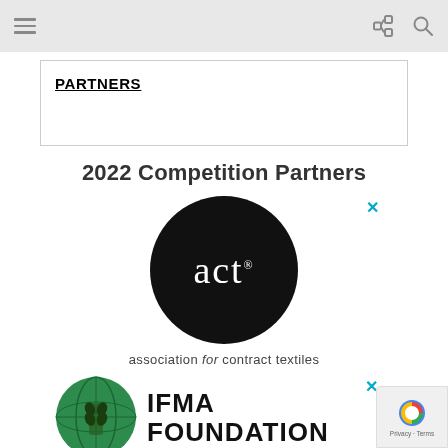Navigation bar with hamburger menu, share icon, and search icon
PARTNERS
2022 Competition Partners
[Figure (logo): ACT (Association for Contract Textiles) logo — black circle with white text 'act.' and tagline 'association for contract textiles']
[Figure (logo): IFMA Foundation logo — green globe with wheat symbol and 'IFMA FOUNDATION' text]